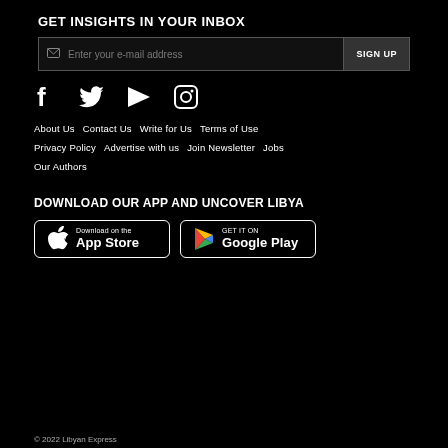GET INSIGHTS IN YOUR INBOX
Enter your e-mail address   SIGN UP
[Figure (infographic): Social media icons: Facebook, Twitter, YouTube, Instagram]
About Us   Contact Us   Write for Us   Terms of Use
Privacy Policy   Advertise with us   Join Newsletter   Jobs
Our Authors
DOWNLOAD OUR APP AND UNCOVER LIBYA
[Figure (infographic): App Store and Google Play download buttons]
© 2022 Libyan Express